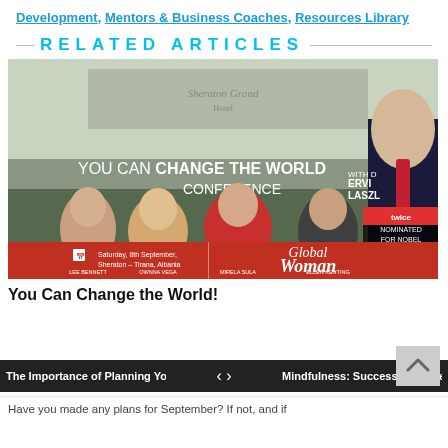Development, Mentors & Business Coaches, Resources Library
RELATED ARTICLES
[Figure (photo): You Can Change The World Conference banner featuring four women and an older man in a suit labeled 'twice nominated for Nobel Prize', Global Woman branding, Saturday 8th September, Sheraton – Tirana, Albania]
You Can Change the World!
The Importance of Planning Your... Mindfulness: Success Is In The Pr...
Have you made any plans for September? If not, and if